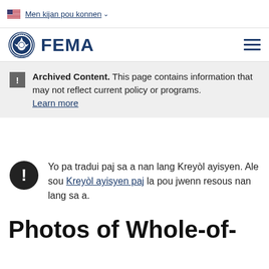Men kijan pou konnen
[Figure (logo): FEMA logo with DHS seal and hamburger menu]
Archived Content. This page contains information that may not reflect current policy or programs. Learn more
Yo pa tradui paj sa a nan lang Kreyòl ayisyen. Ale sou Kreyòl ayisyen paj la pou jwenn resous nan lang sa a.
Photos of Whole-of-